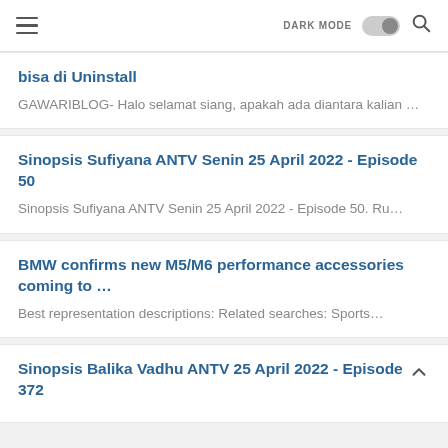DARK MODE [toggle] [search]
bisa di Uninstall
GAWARIBLOG- Halo selamat siang, apakah ada diantara kalian …
Sinopsis Sufiyana ANTV Senin 25 April 2022 - Episode 50
Sinopsis Sufiyana ANTV Senin 25 April 2022 - Episode 50. Ru…
BMW confirms new M5/M6 performance accessories coming to …
Best representation descriptions: Related searches: Sports…
Sinopsis Balika Vadhu ANTV 25 April 2022 - Episode 372